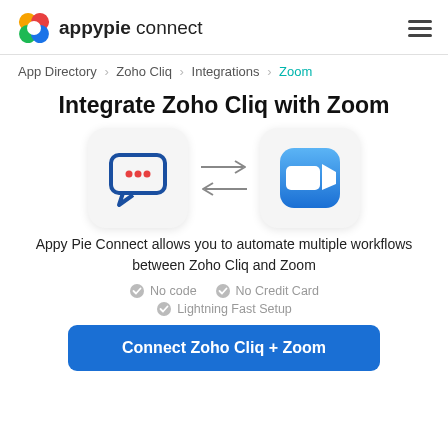appypie connect
App Directory > Zoho Cliq > Integrations > Zoom
Integrate Zoho Cliq with Zoom
[Figure (illustration): Zoho Cliq chat bubble icon and Zoom video camera icon with bidirectional arrows between them]
Appy Pie Connect allows you to automate multiple workflows between Zoho Cliq and Zoom
No code
No Credit Card
Lightning Fast Setup
Connect Zoho Cliq + Zoom